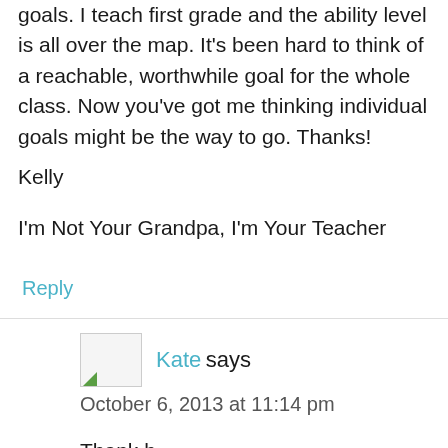goals. I teach first grade and the ability level is all over the map. It's been hard to think of a reachable, worthwhile goal for the whole class. Now you've got me thinking individual goals might be the way to go. Thanks!
Kelly
I'm Not Your Grandpa, I'm Your Teacher
Reply
Kate says
October 6, 2013 at 11:14 pm
Thank b...